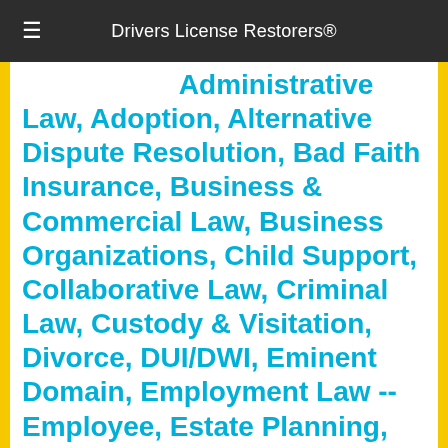Drivers License Restorers®
Specialties: Administrative Law, Adoption, Alternative Dispute Resolution, Bad Faith Insurance, Business & Commercial Law, Business Organizations, Child Support, Collaborative Law, Criminal Law, Custody & Visitation, Divorce, DUI/DWI, Eminent Domain, Employment Law -- Employee, Estate Planning, Family Law, Insurance Law, Labor Law, Land Use & Zoning, Litigation & Appeals, Medical Malpractice, Motor Vehicle Accidents -- Plaintiff, Personal Injury -- Plaintiff, Probate & Estate Administration, Products Liability Law, Professional Malpractice Law, Real Estate Law, Social Security Disability, Toxic Torts, Traffic Violations, White Collar Crimes, Wills, Worker's